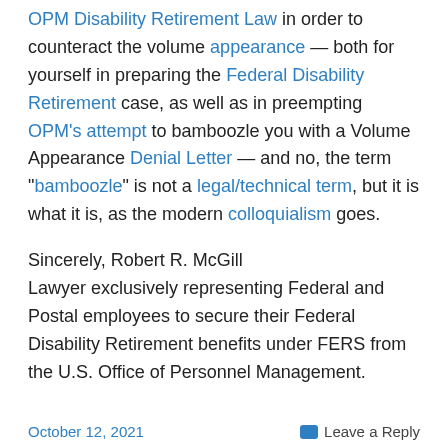OPM Disability Retirement Law in order to counteract the volume appearance — both for yourself in preparing the Federal Disability Retirement case, as well as in preempting OPM's attempt to bamboozle you with a Volume Appearance Denial Letter — and no, the term "bamboozle" is not a legal/technical term, but it is what it is, as the modern colloquialism goes.
Sincerely, Robert R. McGill
Lawyer exclusively representing Federal and Postal employees to secure their Federal Disability Retirement benefits under FERS from the U.S. Office of Personnel Management.
October 12, 2021   Leave a Reply